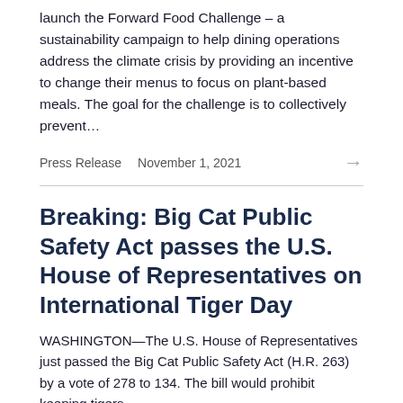launch the Forward Food Challenge – a sustainability campaign to help dining operations address the climate crisis by providing an incentive to change their menus to focus on plant-based meals. The goal for the challenge is to collectively prevent…
Press Release   November 1, 2021
Breaking: Big Cat Public Safety Act passes the U.S. House of Representatives on International Tiger Day
WASHINGTON—The U.S. House of Representatives just passed the Big Cat Public Safety Act (H.R. 263) by a vote of 278 to 134. The bill would prohibit keeping tigers…